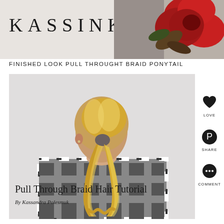KASSINKA +
[Figure (photo): Red flower blooms against a plaid fabric background, top right of header]
FINISHED LOOK PULL THROUGHT BRAID PONYTAIL
[Figure (photo): Rear view of a woman with a pull-through braid ponytail hairstyle, wearing a plaid flannel shirt, against a white background]
Pull Through Braid Hair Tutorial
By Kassandra Polesmuk
LOVE
SHARE
COMMENT